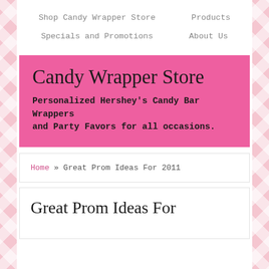Shop Candy Wrapper Store    Products    Specials and Promotions    About Us
Candy Wrapper Store
Personalized Hershey's Candy Bar Wrappers and Party Favors for all occasions.
Home » Great Prom Ideas For 2011
Great Prom Ideas For